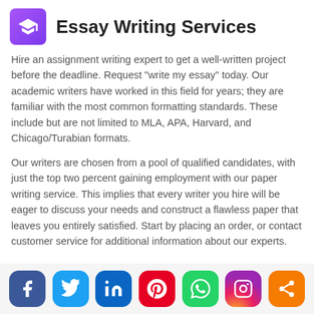Essay Writing Services
Hire an assignment writing expert to get a well-written project before the deadline. Request "write my essay" today. Our academic writers have worked in this field for years; they are familiar with the most common formatting standards. These include but are not limited to MLA, APA, Harvard, and Chicago/Turabian formats.
Our writers are chosen from a pool of qualified candidates, with just the top two percent gaining employment with our paper writing service. This implies that every writer you hire will be eager to discuss your needs and construct a flawless paper that leaves you entirely satisfied. Start by placing an order, or contact customer service for additional information about our experts.
[Figure (infographic): Social media share buttons: Facebook, Twitter, LinkedIn, Pinterest, WhatsApp, Instagram, Share]